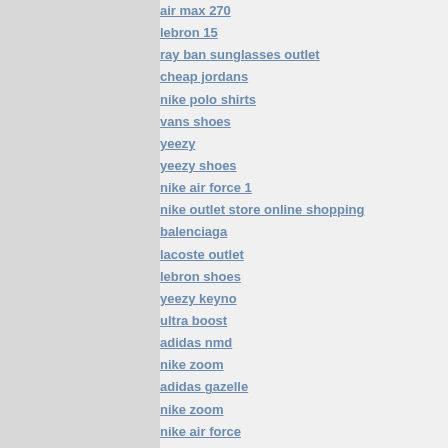air max 270
lebron 15
ray ban sunglasses outlet
cheap jordans
nike polo shirts
vans shoes
yeezy
yeezy shoes
nike air force 1
nike outlet store online shopping
balenciaga
lacoste outlet
lebron shoes
yeezy keyno
ultra boost
adidas nmd
nike zoom
adidas gazelle
nike zoom
nike air force
westbrook shoes
yeezy boost
basketball shoes
jordan 13
air max 90
adidas tubular shadow